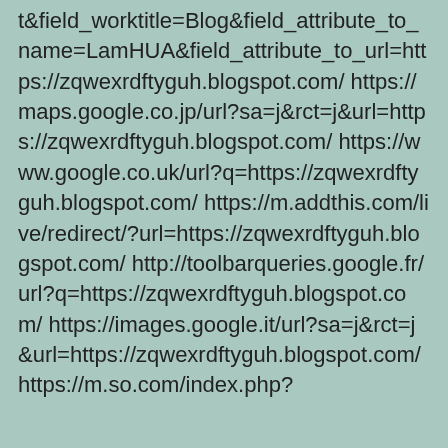t&field_worktitle=Blog&field_attribute_to_name=LamHUA&field_attribute_to_url=https://zqwexrdftyguh.blogspot.com/ https://maps.google.co.jp/url?sa=j&rct=j&url=https://zqwexrdftyguh.blogspot.com/ https://www.google.co.uk/url?q=https://zqwexrdftyguh.blogspot.com/ https://m.addthis.com/live/redirect/?url=https://zqwexrdftyguh.blogspot.com/ http://toolbarqueries.google.fr/url?q=https://zqwexrdftyguh.blogspot.com/ https://images.google.it/url?sa=j&rct=j&url=https://zqwexrdftyguh.blogspot.com/ https://m.so.com/index.php?